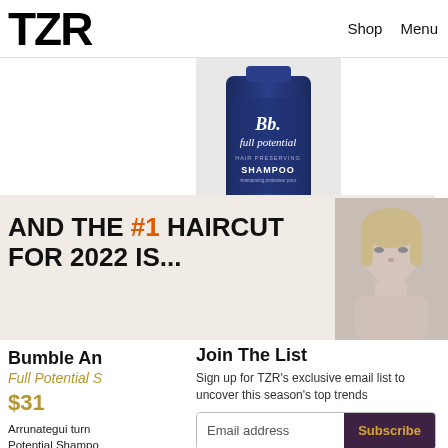TZR  Shop  Menu
[Figure (photo): Bumble and Bumble Full Potential Hair Preserving Shampoo bottle — dark navy blue bottle with script logo]
[Figure (photo): Close-up photo of blonde woman's face, black and white, used in promotional banner]
AND THE #1 HAIRCUT FOR 2022 IS...
Bumble An
Full Potential S
$31
Arrunategui turn Potential Shampo bandage to prevent breakage and creates a barrier to
Join The List
Sign up for TZR's exclusive email list to uncover this season's top trends
Email address
Subscribe